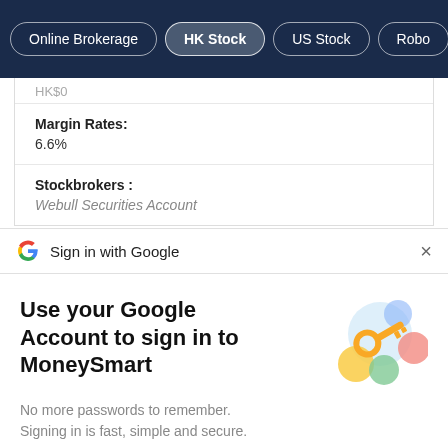Online Brokerage | HK Stock | US Stock | Robo
HK$0
Margin Rates:
6.6%
Stockbrokers :
Webull Securities Account
Sign in with Google
Use your Google Account to sign in to MoneySmart
[Figure (illustration): Google key illustration with colorful circles and a golden key]
No more passwords to remember. Signing in is fast, simple and secure.
Continue